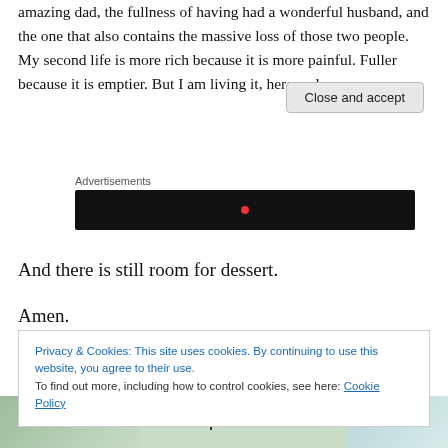amazing dad, the fullness of having had a wonderful husband, and the one that also contains the massive loss of those two people. My second life is more rich because it is more painful. Fuller because it is emptier. But I am living it, here and now.
[Figure (other): Advertisements label with a black video/media player box below it]
And there is still room for dessert.
Amen.
Privacy & Cookies: This site uses cookies. By continuing to use this website, you agree to their use.
To find out more, including how to control cookies, see here: Cookie Policy
Close and accept
[Figure (other): Bottom map/image with text 'Important' overlaid in bold]